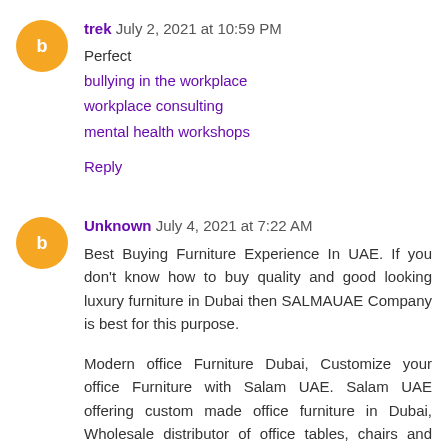trek July 2, 2021 at 10:59 PM
Perfect
bullying in the workplace
workplace consulting
mental health workshops
Reply
Unknown July 4, 2021 at 7:22 AM
Best Buying Furniture Experience In UAE. If you don't know how to buy quality and good looking luxury furniture in Dubai then SALMAUAE Company is best for this purpose.
Modern office Furniture Dubai, Customize your office Furniture with Salam UAE. Salam UAE offering custom made office furniture in Dubai, Wholesale distributor of office tables, chairs and Luxury